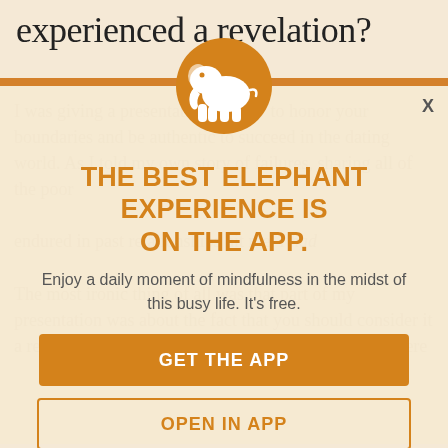experienced a revelation?
[Figure (illustration): Orange circle with white elephant silhouette logo]
THE BEST ELEPHANT EXPERIENCE IS ON THE APP.
Enjoy a daily moment of mindfulness in the midst of this busy life. It's free.
GET THE APP
OPEN IN APP